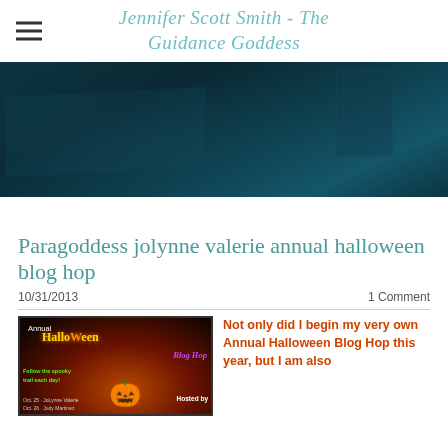Jennifer Scott Smith - The Guidance Goddess
[Figure (photo): Dark teal/navy hero banner image with subtle shapes and lighting, appears to be a dark abstract or nighttime scene]
Paragoddess jolynne valerie annual halloween blog hop
10/31/2013   1 Comment
[Figure (photo): Halloween Blog Hop promotional image with jack-o-lantern, text reading 'Annual Halloween Blog Hop', 'Follow the spooky trail each day!', 'Blog Hop', 'Hosted by', dates Oct. 25 JoLynne Valerie, Oct. 26 Judy Martinez]
Not only did I begin my very own Annual Halloween Blog Hop this year, but I am also...